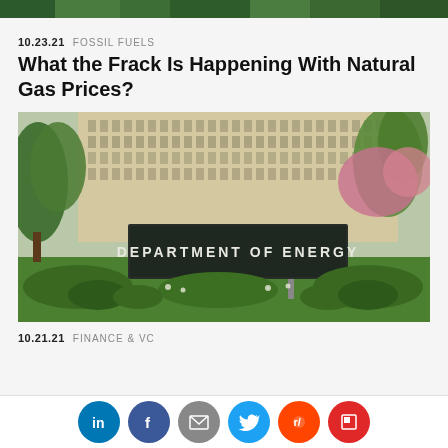[Figure (photo): Top partial image strip showing greenery/trees]
10.23.21   FOSSIL FUELS
What the Frack Is Happening With Natural Gas Prices?
[Figure (photo): Photo of the US Department of Energy building exterior with a sign reading DEPARTMENT OF ENERGY, surrounded by trees and flowering shrubs]
10.21.21   FINANCE & VC